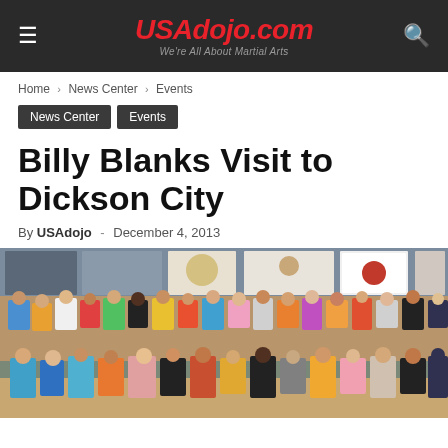USAdojo.com — We're All About Martial Arts
Home › News Center › Events
News Center
Events
Billy Blanks Visit to Dickson City
By USAdojo - December 4, 2013
[Figure (photo): Group photo of approximately 50 participants at a martial arts studio decorated with flags including a South Korean flag and various martial arts banners. People are posed in multiple rows in workout attire.]